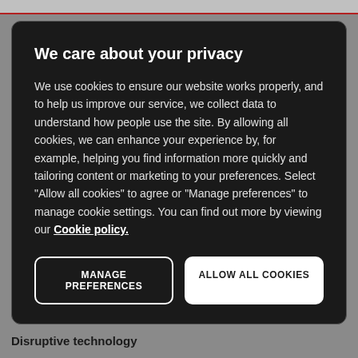We care about your privacy
We use cookies to ensure our website works properly, and to help us improve our service, we collect data to understand how people use the site. By allowing all cookies, we can enhance your experience by, for example, helping you find information more quickly and tailoring content or marketing to your preferences. Select “Allow all cookies” to agree or “Manage preferences” to manage cookie settings. You can find out more by viewing our Cookie policy.
MANAGE PREFERENCES
ALLOW ALL COOKIES
Disruptive technology
5G
AR/VR